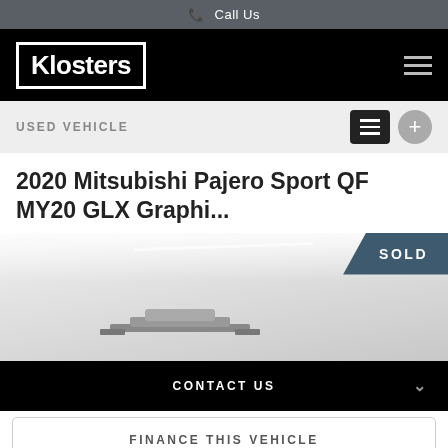Call Us
[Figure (logo): Klosters dealership logo — white text on black background with white border]
USED VEHICLE
2020 Mitsubishi Pajero Sport QF MY20 GLX Graphi...
[Figure (photo): Photo of a Mitsubishi Pajero Sport in a showroom, with a SOLD banner in the top-right corner]
CONTACT US
FINANCE THIS VEHICLE